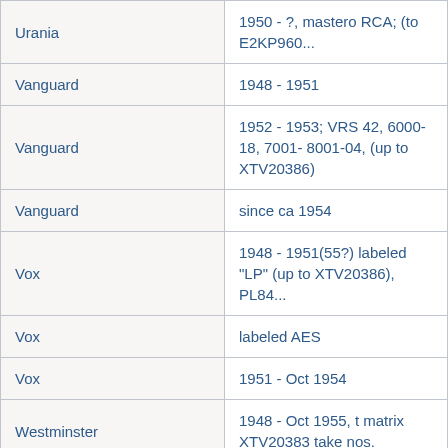| Label | Details |
| --- | --- |
| Urania | 1950 - ?; mastered RCA; (to E2KP960... |
| Vanguard | 1948 - 1951 |
| Vanguard | 1952 - 1953; VRS 42, 6000-18, 7001- 8001-04, (up to XTV20386) |
| Vanguard | since ca 1954 |
| Vox | 1948 - 1951(55?) labeled "LP" (up to XTV20386), PL84... |
| Vox | labeled AES |
| Vox | 1951 - Oct 1954 |
| Westminster | 1948 - Oct 1955, t matrix XTV20383 take nos. |
| Westminster | labeled AES; to m... E2KP 9607... |